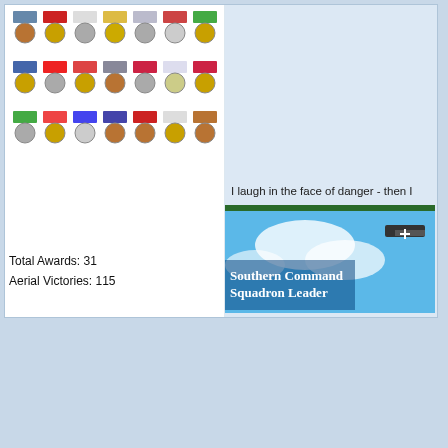[Figure (photo): Grid of military medals and ribbons arranged in two rows, showing various colorful medal ribbons and round medal medallions]
Total Awards: 31
Aerial Victories: 115
[Figure (photo): Banner image showing 'Southern Command Squadron Leader' text overlaid on a sky background with a WWI biplane]
I laugh in the face of danger - then I
06-04-2022 16:46
[Figure (photo): Top-down view of a WWI biplane with RAF roundels on wings, over a map background]
Summer also lasts until September